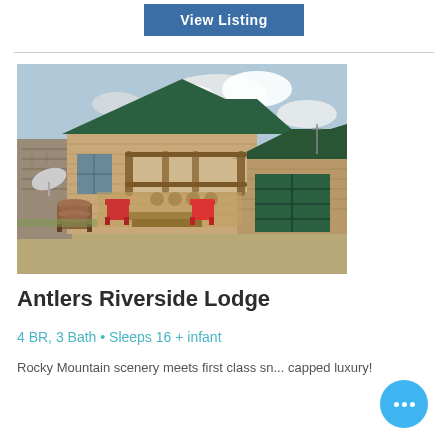View Listing
[Figure (photo): Exterior photo of Antlers Riverside Lodge — a two-story log and wood-siding cabin with green metal roof, upper deck with log railings, green garage door, red Adirondack chairs on porch, firewood stacked on left, gravel driveway in foreground, partly cloudy sky above.]
Antlers Riverside Lodge
4 BR, 3 Bath • Sleeps 16 + infant
Rocky Mountain scenery meets first class sn... capped luxury!